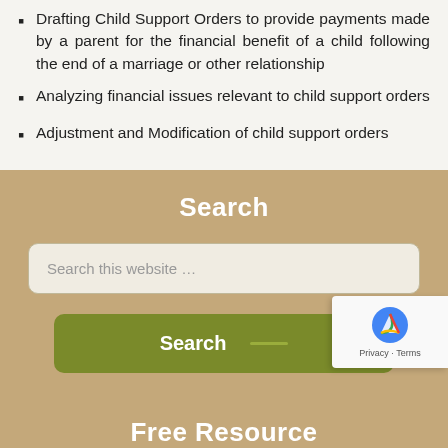Drafting Child Support Orders to provide payments made by a parent for the financial benefit of a child following the end of a marriage or other relationship
Analyzing financial issues relevant to child support orders
Adjustment and Modification of child support orders
Search
Search this website …
Search
Free Resource